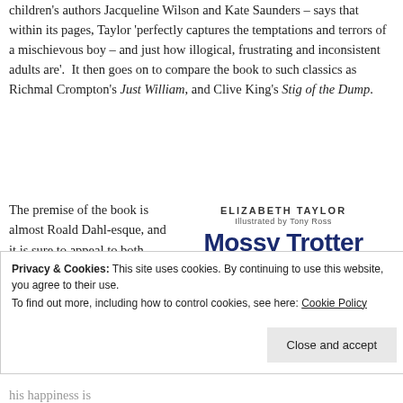children's authors Jacqueline Wilson and Kate Saunders – says that within its pages, Taylor 'perfectly captures the temptations and terrors of a mischievous boy – and just how illogical, frustrating and inconsistent adults are'. It then goes on to compare the book to such classics as Richmal Crompton's Just William, and Clive King's Stig of the Dump.
The premise of the book is almost Roald Dahl-esque, and it is sure to appeal to both adults and children: 'When
[Figure (illustration): Book cover of 'Mossy Trotter' by Elizabeth Taylor, Illustrated by Tony Ross. Shows the author name in uppercase letters, illustrator credit, the title in large handwritten-style font in dark blue, and a cartoon illustration of a boy with a bicycle wheel.]
Privacy & Cookies: This site uses cookies. By continuing to use this website, you agree to their use. To find out more, including how to control cookies, see here: Cookie Policy
his happiness is